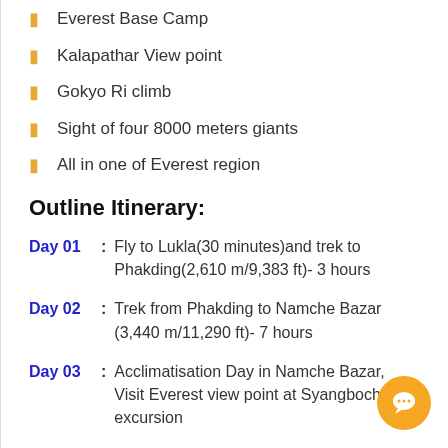Everest Base Camp
Kalapathar View point
Gokyo Ri climb
Sight of four 8000 meters giants
All in one of Everest region
Outline Itinerary:
Day 01:  Fly to Lukla(30 minutes)and trek to Phakding(2,610 m/9,383 ft)- 3 hours
Day 02:  Trek from Phakding to Namche Bazar (3,440 m/11,290 ft)- 7 hours
Day 03:  Acclimatisation Day in Namche Bazar, Visit Everest view point at Syangboche as excursion